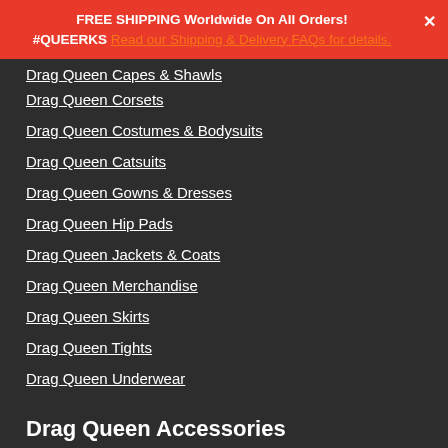FREE SHIPPING Worldwide On All Orders! #QUEERKS Read our Shipping & Delivery FAQs for details.
Drag Queen Capes & Shawls
Drag Queen Corsets
Drag Queen Costumes & Bodysuits
Drag Queen Catsuits
Drag Queen Gowns & Dresses
Drag Queen Hip Pads
Drag Queen Jackets & Coats
Drag Queen Merchandise
Drag Queen Skirts
Drag Queen Tights
Drag Queen Underwear
Drag Queen Accessories
Drag Queen Accessories
Drag Queen Bags